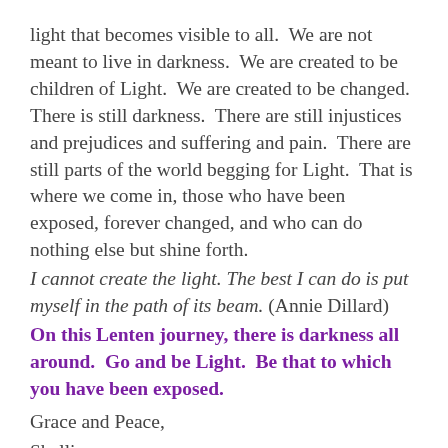light that becomes visible to all.  We are not meant to live in darkness.  We are created to be children of Light.  We are created to be changed.  There is still darkness.  There are still injustices and prejudices and suffering and pain.  There are still parts of the world begging for Light.  That is where we come in, those who have been exposed, forever changed, and who can do nothing else but shine forth.
I cannot create the light. The best I can do is put myself in the path of its beam. (Annie Dillard)
On this Lenten journey, there is darkness all around.  Go and be Light.  Be that to which you have been exposed.
Grace and Peace,
Shelli